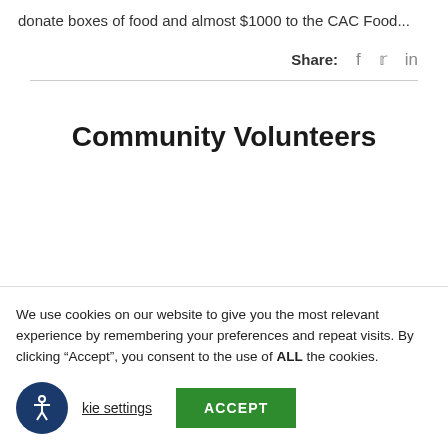donate boxes of food and almost $1000 to the CAC Food...
Share:
Community Volunteers
We use cookies on our website to give you the most relevant experience by remembering your preferences and repeat visits. By clicking “Accept”, you consent to the use of ALL the cookies.
Cookie settings   ACCEPT